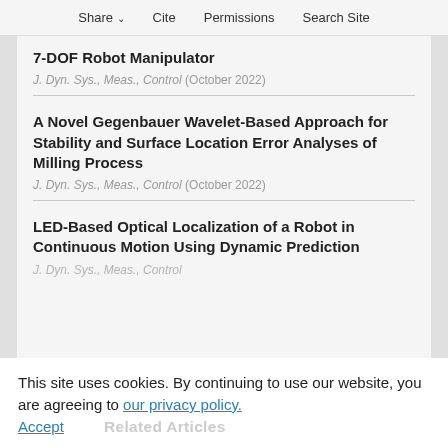Share  Cite  Permissions  Search Site
7-DOF Robot Manipulator
J. Dyn. Sys., Meas., Control (October 2022)
A Novel Gegenbauer Wavelet-Based Approach for Stability and Surface Location Error Analyses of Milling Process
J. Dyn. Sys., Meas., Control (October 2022)
LED-Based Optical Localization of a Robot in Continuous Motion Using Dynamic Prediction
J. Dyn. Sys., Meas., Control
This site uses cookies. By continuing to use our website, you are agreeing to our privacy policy. Accept
Related Articles